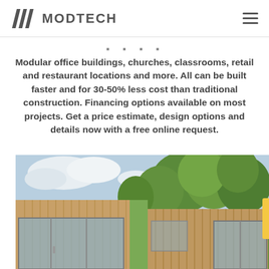MODTECH
Modular office buildings, churches, classrooms, retail and restaurant locations and more. All can be built faster and for 30-50% less cost than traditional construction. Financing options available on most projects. Get a price estimate, design options and details now with a free online request.
[Figure (photo): Exterior photo of a modern modular building with wooden cladding, large glass sliding doors, flat roof, set in a green landscape with trees in the background under a partly cloudy sky.]